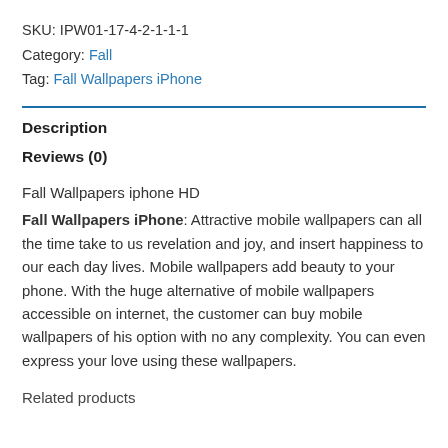SKU: IPW01-17-4-2-1-1-1
Category: Fall
Tag: Fall Wallpapers iPhone
Description
Reviews (0)
Fall Wallpapers iphone HD
Fall Wallpapers iPhone: Attractive mobile wallpapers can all the time take to us revelation and joy, and insert happiness to our each day lives. Mobile wallpapers add beauty to your phone. With the huge alternative of mobile wallpapers accessible on internet, the customer can buy mobile wallpapers of his option with no any complexity. You can even express your love using these wallpapers.
Related products